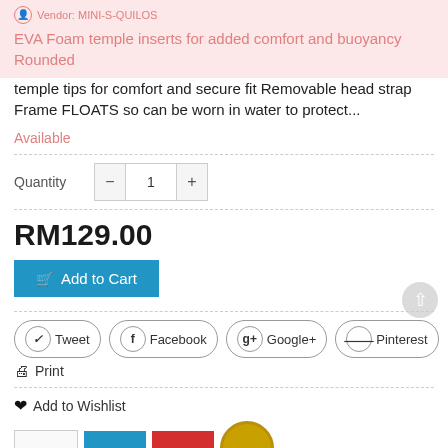Vendor: MINI-S-QUILOS
EVA Foam temple inserts for added comfort and buoyancy Rounded temple tips for comfort and secure fit Removable head strap Frame FLOATS so can be worn in water to protect...
Available
Quantity 1
RM129.00
Add to Cart
Tweet Facebook Google+ Pinterest
Print
Add to Wishlist
[Figure (other): Payment method icons: blank, blue, red/mastercard, gold coin badge]